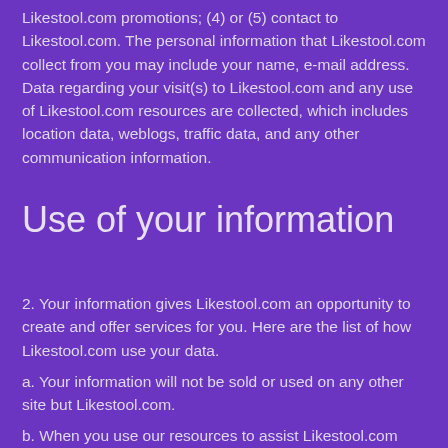Likestool.com promotions; (4) or (5) contact to Likestool.com. The personal information that Likestool.com collect from you may include your name, e-mail address. Data regarding your visit(s) to Likestool.com and any use of Likestool.com resources are collected, which includes location data, weblogs, traffic data, and any other communication information.
Use of your information
2. Your information gives Likestool.com an opportunity to create and offer services for you. Here are the list of how Likestool.com use your data.
a. Your information will not be sold or used on any other site but Likestool.com.
b. When you use our resources to assist Likestool.com use your data